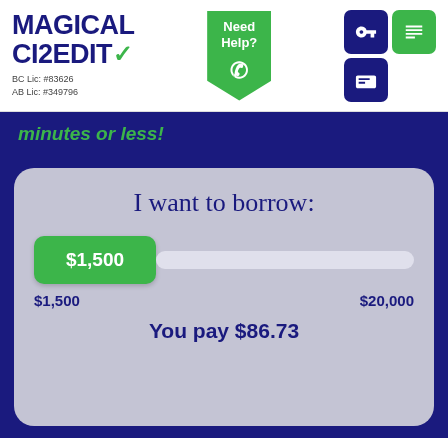[Figure (logo): Magical Credit logo with green checkmark, BC Lic: #83626, AB Lic: #349796]
Need Help?
BC Lic: #83626
AB Lic: #349796
minutes or less!
I want to borrow:
$1,500
$1,500
$20,000
You pay $86.73